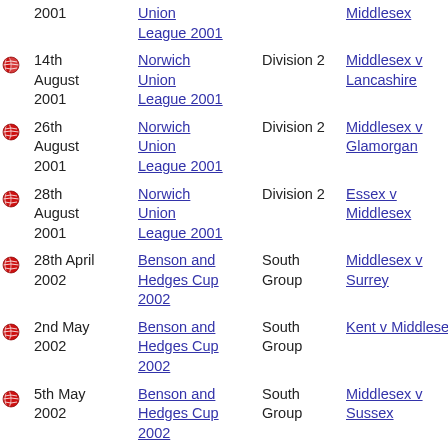|  | Date | Competition | Type | Match | Venue |
| --- | --- | --- | --- | --- | --- |
|  | 2001 | Union League 2001 |  | Middlesex | New Road, Worcester |
| ● | 14th August 2001 | Norwich Union League 2001 | Division 2 | Middlesex v Lancashire | Lord's Cricket Ground, St John's Wood |
| ● | 26th August 2001 | Norwich Union League 2001 | Division 2 | Middlesex v Glamorgan | Lord's Cricket Ground, St John's Wood |
| ● | 28th August 2001 | Norwich Union League 2001 | Division 2 | Essex v Middlesex | Castle Park Cricket Ground, Colchester |
| ● | 28th April 2002 | Benson and Hedges Cup 2002 | South Group | Middlesex v Surrey | Lord's Cricket Ground, St John's Wood |
| ● | 2nd May 2002 | Benson and Hedges Cup 2002 | South Group | Kent v Middlesex | St Lawrence Ground, Canterbury |
| ● | 5th May 2002 | Benson and Hedges Cup 2002 | South Group | Middlesex v Sussex | Lord's Cricket Ground, St John's Wood |
| ● | 6th May 2002 | Benson and Hedges Cup 2002 | South Group | Hampshire v Middlesex | The Rose Bowl, Southampton |